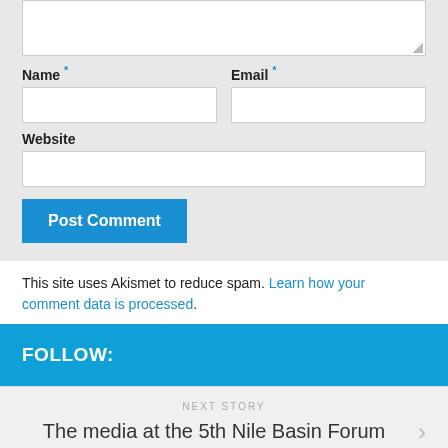[Figure (screenshot): Web comment form with textarea, Name and Email fields, Website field, and Post Comment button on a light gray background]
This site uses Akismet to reduce spam. Learn how your comment data is processed.
FOLLOW:
NEXT STORY
The media at the 5th Nile Basin Forum